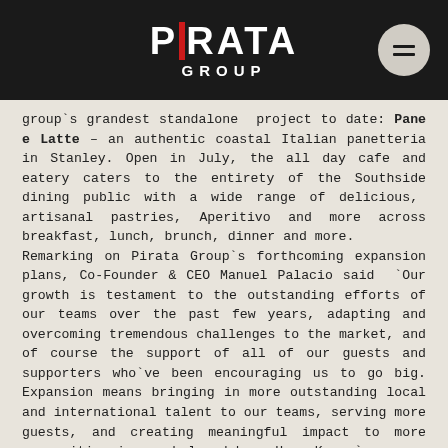PIRATA GROUP
group`s grandest standalone project to date: Pane e Latte – an authentic coastal Italian panetteria in Stanley. Open in July, the all day cafe and eatery caters to the entirety of the Southside dining public with a wide range of delicious, artisanal pastries, Aperitivo and more across breakfast, lunch, brunch, dinner and more.
Remarking on Pirata Group`s forthcoming expansion plans, Co-Founder & CEO Manuel Palacio said `Our growth is testament to the outstanding efforts of our teams over the past few years, adapting and overcoming tremendous challenges to the market, and of course the support of all of our guests and supporters who`ve been encouraging us to go big. Expansion means bringing in more outstanding local and international talent to our teams, serving more guests, and creating meaningful impact to more communities in our beloved home Hong Kong.`